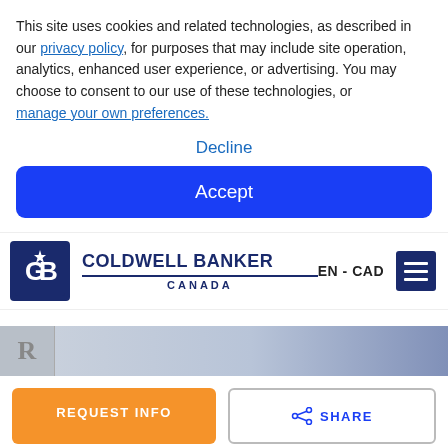This site uses cookies and related technologies, as described in our privacy policy, for purposes that may include site operation, analytics, enhanced user experience, or advertising. You may choose to consent to our use of these technologies, or manage your own preferences.
Decline
Accept
[Figure (logo): Coldwell Banker Canada logo with navigation bar including EN - CAD language selector and hamburger menu]
[Figure (photo): Partial hero image strip with R letter graphic on left and blurred property photo on right]
REQUEST INFO
SHARE